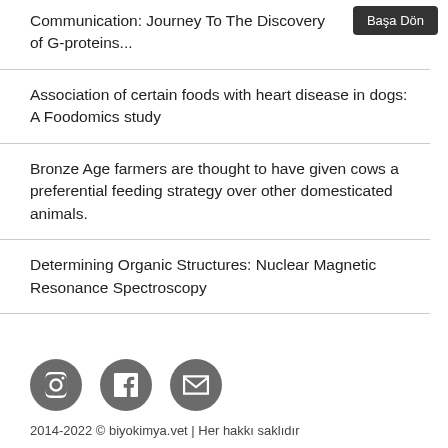Communication: Journey To The Discovery of G-proteins...
Association of certain foods with heart disease in dogs: A Foodomics study
Bronze Age farmers are thought to have given cows a preferential feeding strategy over other domesticated animals.
Determining Organic Structures: Nuclear Magnetic Resonance Spectroscopy
2014-2022 © biyokimya.vet | Her hakkı saklıdır